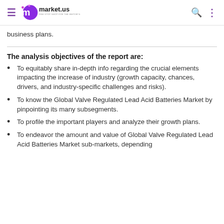market.us — ONE STOP SHOP FOR THE REPORTS
business plans.
The analysis objectives of the report are:
To equitably share in-depth info regarding the crucial elements impacting the increase of industry (growth capacity, chances, drivers, and industry-specific challenges and risks).
To know the Global Valve Regulated Lead Acid Batteries Market by pinpointing its many subsegments.
To profile the important players and analyze their growth plans.
To endeavor the amount and value of Global Valve Regulated Lead Acid Batteries Market sub-markets, depending